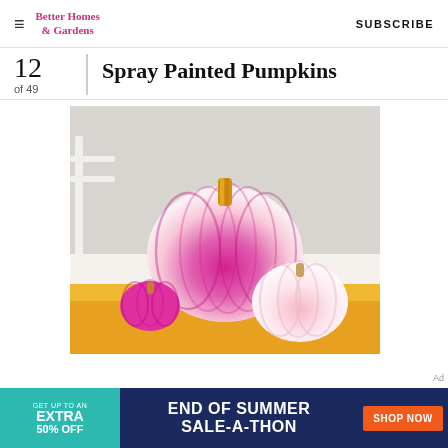Better Homes & Gardens  SUBSCRIBE
12 of 49  Spray Painted Pumpkins
[Figure (photo): Three spray-painted pumpkins on a table: a large pumpkin with pink-to-white ombre spray paint effect and orange stem, a small pumpkin with bright magenta top, and a medium pumpkin in pale pink, all on an orange/yellow tablecloth with a white chair and pink plates in background.]
Ad
[Figure (infographic): Advertisement banner: teal left panel says GET UP TO AN EXTRA 50% OFF; dark navy center says END OF SUMMER SALE-A-THON; orange button says SHOP NOW]